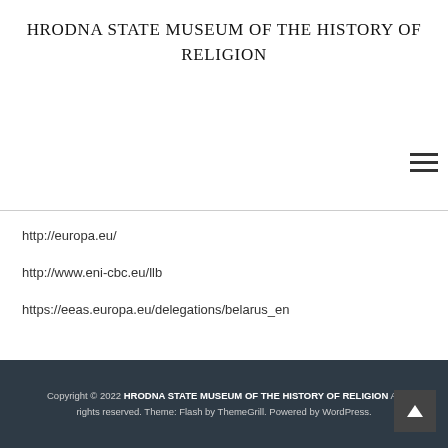HRODNA STATE MUSEUM OF THE HISTORY OF RELIGION
http://europa.eu/
http://www.eni-cbc.eu/llb
https://eeas.europa.eu/delegations/belarus_en
Copyright © 2022 HRODNA STATE MUSEUM OF THE HISTORY OF RELIGION All rights reserved. Theme: Flash by ThemeGrill. Powered by WordPress.